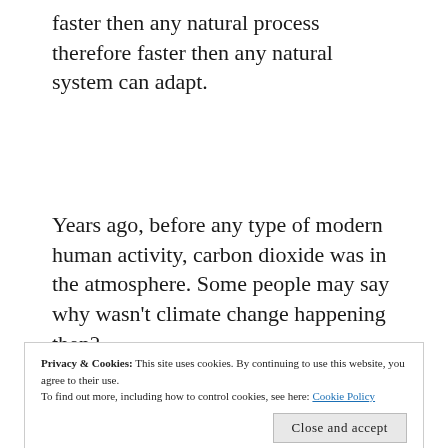faster then any natural process therefore faster then any natural system can adapt.
Years ago, before any type of modern human activity, carbon dioxide was in the atmosphere. Some people may say why wasn't climate change happening then?
Privacy & Cookies: This site uses cookies. By continuing to use this website, you agree to their use. To find out more, including how to control cookies, see here: Cookie Policy
Close and accept
y g y, carbon dioxide